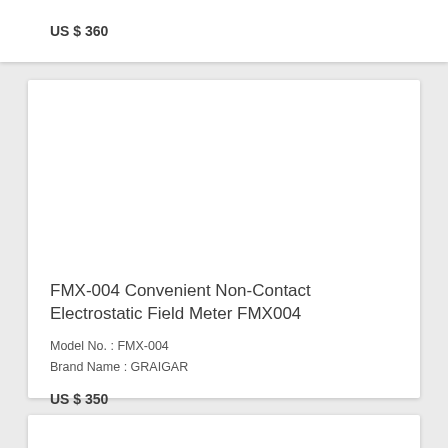US $ 360
FMX-004 Convenient Non-Contact Electrostatic Field Meter FMX004
Model No. : FMX-004
Brand Name : GRAIGAR
US $ 350